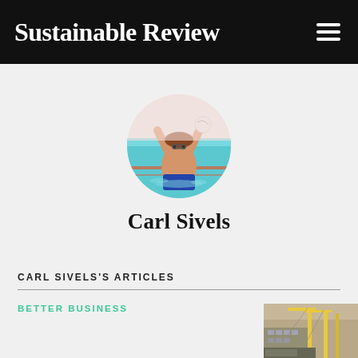Sustainable Review
[Figure (photo): Circular profile photo of Carl Sivels, a person playing water polo in a pool with arms raised]
Carl Sivels
CARL SIVELS'S ARTICLES
BETTER BUSINESS
[Figure (photo): Thumbnail image showing what appears to be a construction or industrial scene with yellow crane structures]